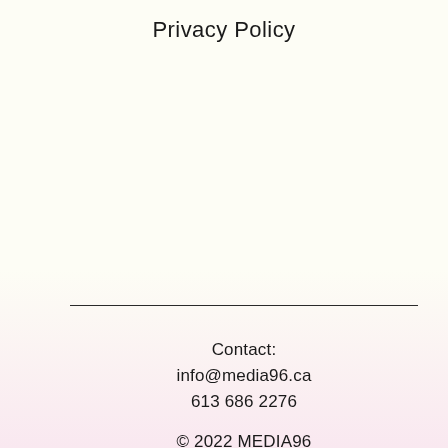Privacy Policy
Contact:
info@media96.ca
613 686 2276
© 2022 MEDIA96